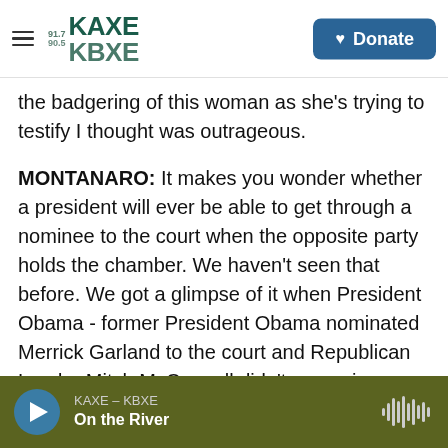KAXE 91.7 KBXE 90.5 | Donate
the badgering of this woman as she's trying to testify I thought was outrageous.
MONTANARO: It makes you wonder whether a president will ever be able to get through a nominee to the court when the opposite party holds the chamber. We haven't seen that before. We got a glimpse of it when President Obama - former President Obama nominated Merrick Garland to the court and Republican Leader Mitch McConnell didn't even give Garland a hearing. The job of the Senate is to advise and consent. But right now, with tensions being what they are, we really have a
KAXE – KBXE | On the River